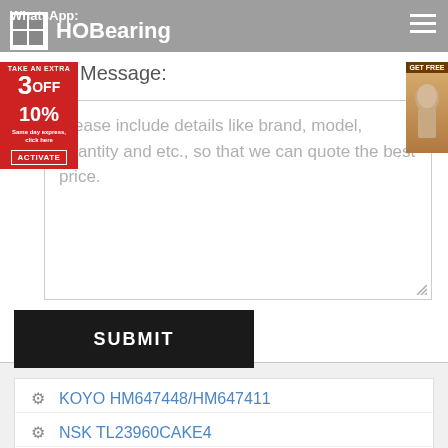WhatsApp: HOBearing
Message:
Please include details like brand, model, quantity and etc., so that we can quote the best price.
SUBMIT
KOYO HM647448/HM647411
NSK TL23960CAKE4
SKF K81238M